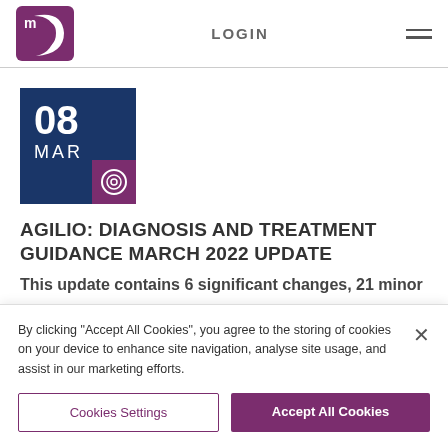LOGIN
[Figure (logo): Agilio/mC logo — purple stylised letter m with crescent C shape, white m on purple background]
[Figure (infographic): Date block: 08 MAR on dark navy blue background with purple icon box at bottom-right containing a circular target/crosshair icon]
AGILIO: DIAGNOSIS AND TREATMENT GUIDANCE MARCH 2022 UPDATE
This update contains 6 significant changes, 21 minor
By clicking “Accept All Cookies”, you agree to the storing of cookies on your device to enhance site navigation, analyse site usage, and assist in our marketing efforts.
Cookies Settings
Accept All Cookies